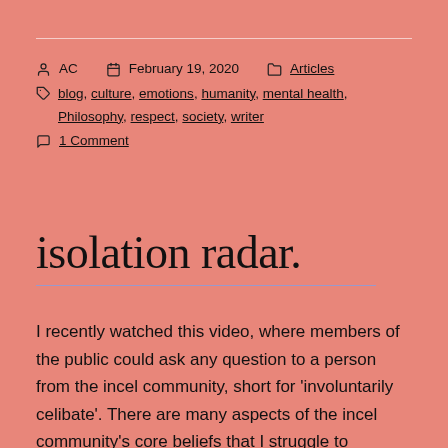AC   February 19, 2020   Articles   blog, culture, emotions, humanity, mental health, Philosophy, respect, society, writer   1 Comment
isolation radar.
I recently watched this video, where members of the public could ask any question to a person from the incel community, short for 'involuntarily celibate'. There are many aspects of the incel community's core beliefs that I struggle to reconcile with my own, which includes the subservience of women as an apparent means to reach